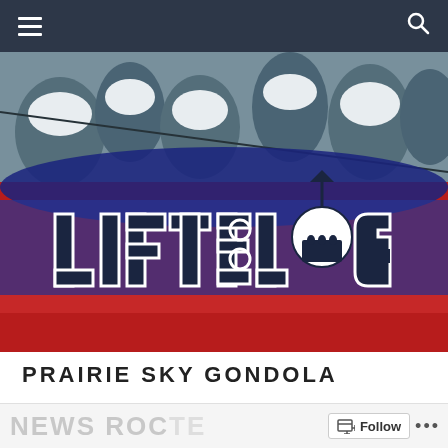Navigation bar with hamburger menu and search icon
[Figure (photo): Hero banner photo showing a red gondola cabin with snow-covered trees in the background. Overlaid on the gondola is the LIFTBLOG logo — bold white outlined dark block letters spelling LIFTBLOG, with the O replaced by a gondola cabin silhouette carrying skier figures.]
PRAIRIE SKY GONDOLA
NEWS ROC... Follow ...